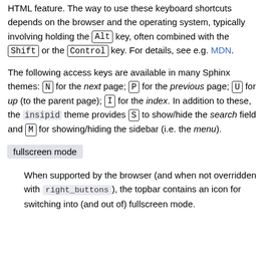HTML feature. The way to use these keyboard shortcuts depends on the browser and the operating system, typically involving holding the Alt key, often combined with the Shift or the Control key. For details, see e.g. MDN.
The following access keys are available in many Sphinx themes: N for the next page; P for the previous page; U for up (to the parent page); I for the index. In addition to these, the insipid theme provides S to show/hide the search field and M for showing/hiding the sidebar (i.e. the menu).
fullscreen mode
When supported by the browser (and when not overridden with right_buttons), the topbar contains an icon for switching into (and out of) fullscreen mode.